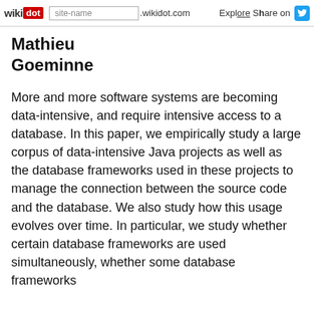wikidot | site-name .wikidot.com | Explore | Share on
Mathieu Goeminne
More and more software systems are becoming data-intensive, and require intensive access to a database. In this paper, we empirically study a large corpus of data-intensive Java projects as well as the database frameworks used in these projects to manage the connection between the source code and the database. We also study how this usage evolves over time. In particular, we study whether certain database frameworks are used simultaneously, whether some database frameworks